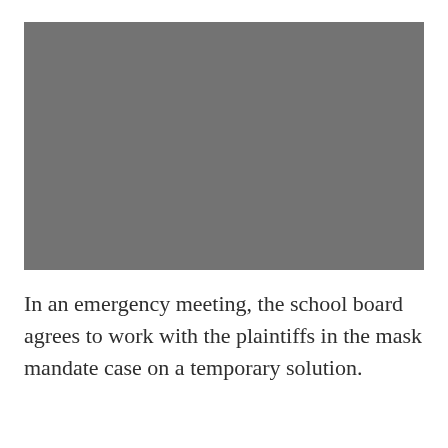[Figure (photo): A gray rectangular photo placeholder occupying the upper portion of the page.]
In an emergency meeting, the school board agrees to work with the plaintiffs in the mask mandate case on a temporary solution.